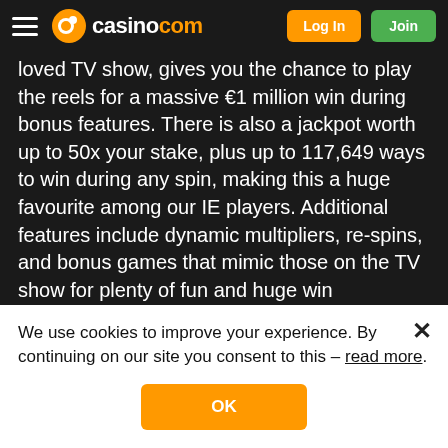casino.com — Log In | Join
loved TV show, gives you the chance to play the reels for a massive €1 million win during bonus features. There is also a jackpot worth up to 50x your stake, plus up to 117,649 ways to win during any spin, making this a huge favourite among our IE players. Additional features include dynamic multipliers, re-spins, and bonus games that mimic those on the TV show for plenty of fun and huge win possibilities.
MAIN FEATURES
Game Type: 117,649 ways to win video slot
Return ... 96.24%
We use cookies to improve your experience. By continuing on our site you consent to this – read more.